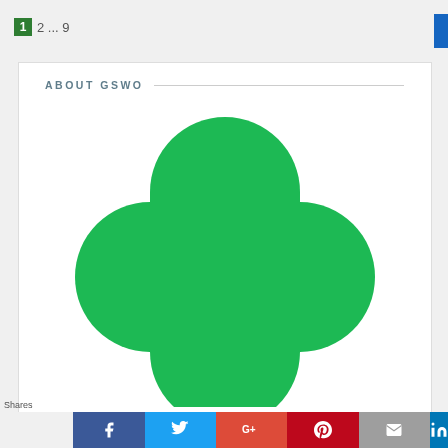1 2 ... 9
ABOUT GSWO
[Figure (logo): Girl Scouts trefoil logo in green — a four-lobed clover shape made of overlapping circles]
Shares — Facebook, Twitter, Google+, Pinterest, Email, LinkedIn social share buttons